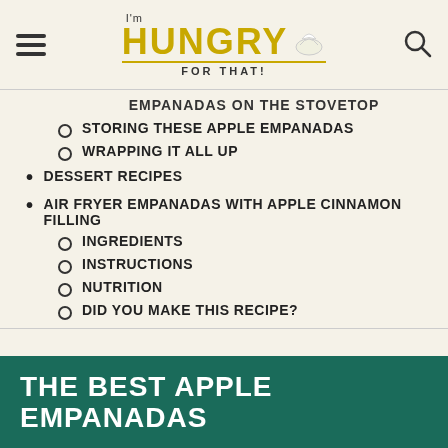I'm HUNGRY FOR THAT! [logo with hamburger menu and search icon]
EMPANADAS ON THE STOVETOP
STORING THESE APPLE EMPANADAS
WRAPPING IT ALL UP
DESSERT RECIPES
AIR FRYER EMPANADAS WITH APPLE CINNAMON FILLING
INGREDIENTS
INSTRUCTIONS
NUTRITION
DID YOU MAKE THIS RECIPE?
THE BEST APPLE EMPANADAS